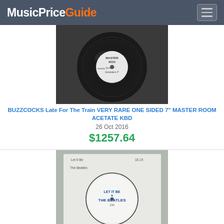MusicPriceGuide
[Figure (photo): Photo of a black vinyl 7-inch acetate record with a white label reading Master Room, with handwritten text]
BUZZCOCKS Late For The Train VERY RARE ONE SIDED 7" MASTER ROOM ACETATE KBD
26 Oct 2016
$1257.64
[Figure (photo): Photo of a white-sleeved vinyl record with a white label reading LET IT BE by THE BEATLES, with handwritten sleeve markings]
BUZZCOCKS Late For The Train VERY RARE ONE SIDED 7" MASTER